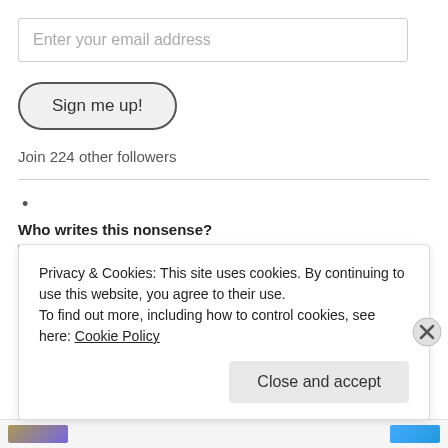Enter your email address
Sign me up!
Join 224 other followers
•
Who writes this nonsense?
jasbeattie
Hamani rollover? Just one.
Not dead yet…
Privacy & Cookies: This site uses cookies. By continuing to use this website, you agree to their use.
To find out more, including how to control cookies, see here: Cookie Policy
Close and accept